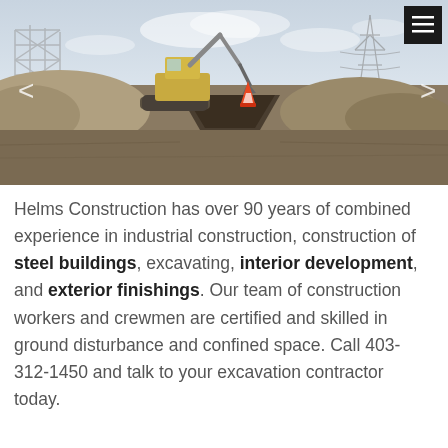[Figure (photo): Construction site photograph showing an excavator digging a deep trench in open terrain with dirt mounds and an orange traffic cone visible. Steel structure framework visible in background left, power transmission tower in background right. Overcast sky.]
Helms Construction has over 90 years of combined experience in industrial construction, construction of steel buildings, excavating, interior development, and exterior finishings. Our team of construction workers and crewmen are certified and skilled in ground disturbance and confined space. Call 403-312-1450 and talk to your excavation contractor today.